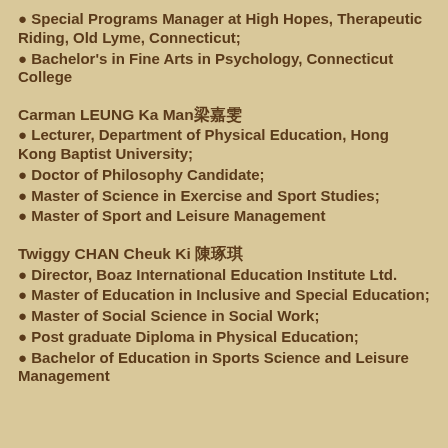● Special Programs Manager at High Hopes, Therapeutic Riding, Old Lyme, Connecticut;
● Bachelor's in Fine Arts in Psychology, Connecticut College
Carman LEUNG Ka Man梁嘉雯
● Lecturer, Department of Physical Education, Hong Kong Baptist University;
● Doctor of Philosophy Candidate;
● Master of Science in Exercise and Sport Studies;
● Master of Sport and Leisure Management
Twiggy CHAN Cheuk Ki 陳琢琪
● Director, Boaz International Education Institute Ltd.
● Master of Education in Inclusive and Special Education;
● Master of Social Science in Social Work;
● Post graduate Diploma in Physical Education;
● Bachelor of Education in Sports Science and Leisure Management